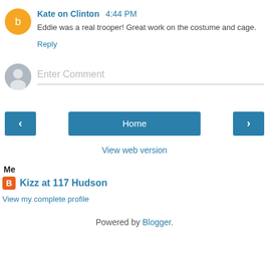Kate on Clinton 4:44 PM
Eddie was a real trooper! Great work on the costume and cage.
Reply
Enter Comment
< Home >
View web version
Me
Kizz at 117 Hudson
View my complete profile
Powered by Blogger.